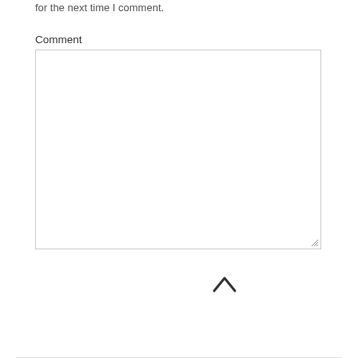for the next time I comment.
Comment
[Figure (screenshot): Empty comment textarea input box with resize handle in bottom-right corner]
[Figure (screenshot): POST COMMENT button (dark background, white uppercase text) and a chevron-up arrow icon on the right]